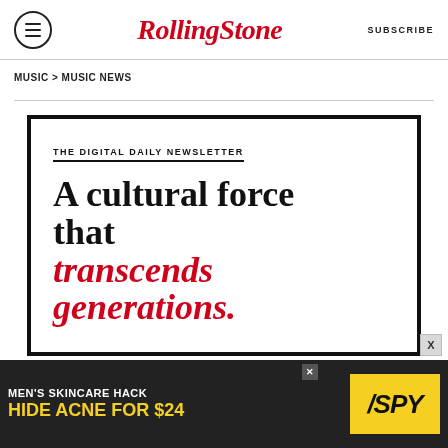Rolling Stone | SUBSCRIBE
MUSIC > MUSIC NEWS
[Figure (other): Rolling Stone newsletter promotional box with text: 'THE DIGITAL DAILY NEWSLETTER' and headline 'A cultural force that transcends generations.' in black and red serif bold font, inside a thick black border]
[Figure (infographic): Bottom advertisement banner: MEN'S SKINCARE HACK - HIDE ACNE FOR $24 with SPY logo on yellow background]